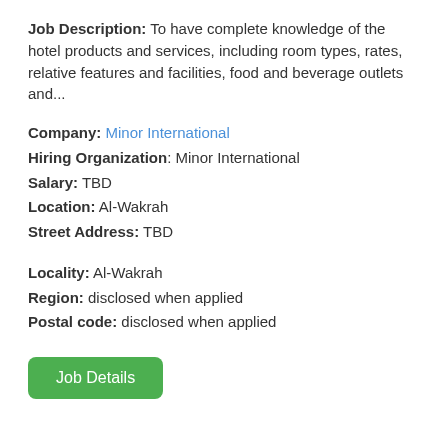Job Description: To have complete knowledge of the hotel products and services, including room types, rates, relative features and facilities, food and beverage outlets and...
Company: Minor International
Hiring Organization: Minor International
Salary: TBD
Location: Al-Wakrah
Street Address: TBD
Locality: Al-Wakrah
Region: disclosed when applied
Postal code: disclosed when applied
Job Details